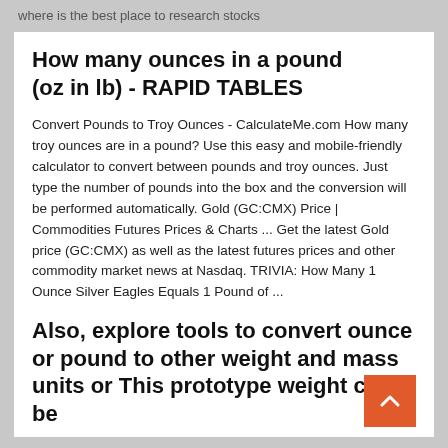where is the best place to research stocks
How many ounces in a pound (oz in lb) - RAPID TABLES
Convert Pounds to Troy Ounces - CalculateMe.com How many troy ounces are in a pound? Use this easy and mobile-friendly calculator to convert between pounds and troy ounces. Just type the number of pounds into the box and the conversion will be performed automatically. Gold (GC:CMX) Price | Commodities Futures Prices & Charts ... Get the latest Gold price (GC:CMX) as well as the latest futures prices and other commodity market news at Nasdaq. TRIVIA: How Many 1 Ounce Silver Eagles Equals 1 Pound of ...
Also, explore tools to convert ounce or pound to other weight and mass units or This prototype weight could be